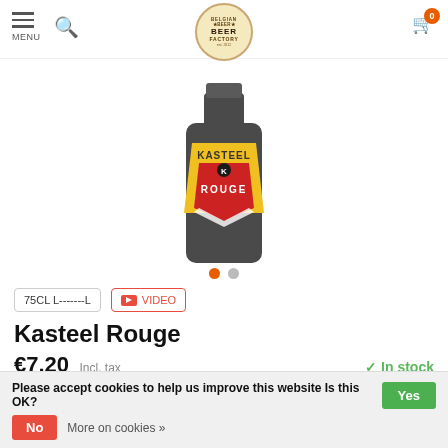MENU | Search | Belgian Beer Factory | Cart 0
[Figure (photo): Kasteel Rouge beer bottle showing the label with KASTEEL ROUGE text, dark bottle with red and yellow label]
75CL L-------L   VIDEO
Kasteel Rouge
€7,20  Incl. tax   ✓ In stock
Brewery : Van Honsebrouck brewery (Castle / Kasteel)
Please accept cookies to help us improve this website Is this OK?  Yes
No   More on cookies »